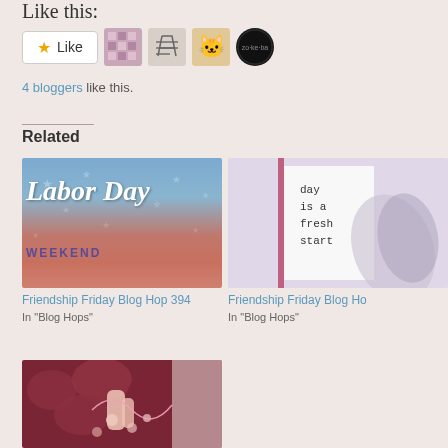Like this:
[Figure (other): Like button with star icon and 4 blogger avatar thumbnails]
4 bloggers like this.
Related
[Figure (photo): Labor Day Weekend graphic with blue and red banner]
Friendship Friday Blog Hop 394
In "Blog Hops"
[Figure (photo): Craft journal page with 'day is a fresh start' stamp text and leaf decoration]
Friendship Friday Blog Ho
In "Blog Hops"
[Figure (photo): Crochet hands with pink yarn, red beads and crafting supplies]